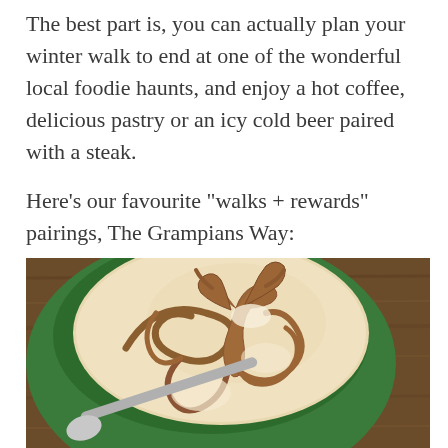The best part is, you can actually plan your winter walk to end at one of the wonderful local foodie haunts, and enjoy a hot coffee, delicious pastry or an icy cold beer paired with a steak.
Here's our favourite "walks + rewards" pairings, The Grampians Way:
[Figure (photo): Close-up overhead photo of a latte with intricate leaf/deer latte art in brown on creamy foam, served in a green cup with a spoon resting beside it on a wooden surface.]